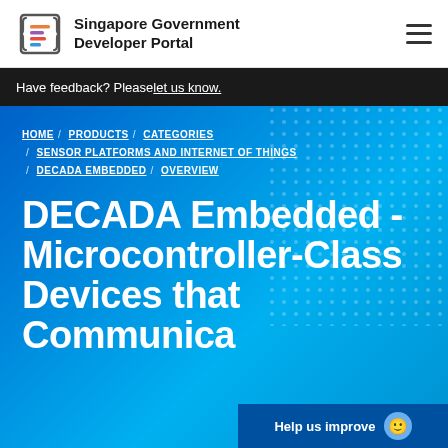Singapore Government Developer Portal
Have feedback? Please let us know.
HOME / PRODUCTS / CATEGORIES / SENSOR PLATFORMS AND INTERNET OF THINGS / DECADA EMBEDDED / OVERVIEW
DECADA Embedded - Microcontroller-Class Devices that Communica...
Help us improve